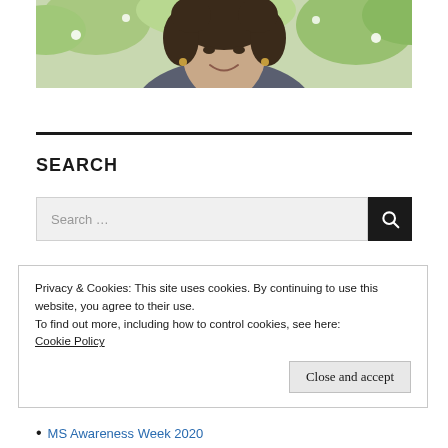[Figure (photo): Cropped photo of a smiling woman with curly dark hair wearing a dark grey t-shirt, outdoors with green foliage and white flowers in the background.]
SEARCH
Search …
Privacy & Cookies: This site uses cookies. By continuing to use this website, you agree to their use.
To find out more, including how to control cookies, see here:
Cookie Policy
Close and accept
MS Awareness Week 2020